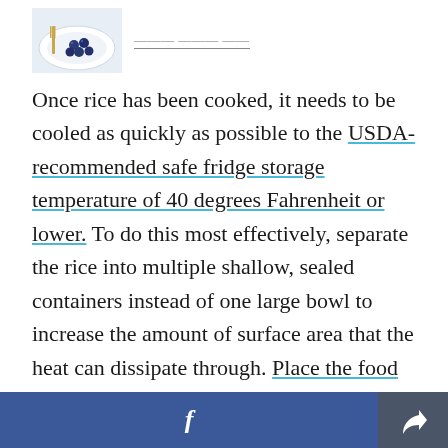[Figure (photo): A plate with blueberries and a fork, food image thumbnail at top left]
Once rice has been cooked, it needs to be cooled as quickly as possible to the USDA-recommended safe fridge storage temperature of 40 degrees Fahrenheit or lower. To do this most effectively, separate the rice into multiple shallow, sealed containers instead of one large bowl to increase the amount of surface area that the heat can dissipate through. Place the food directly into the fridge; do not let it sit out in the counter for more than an